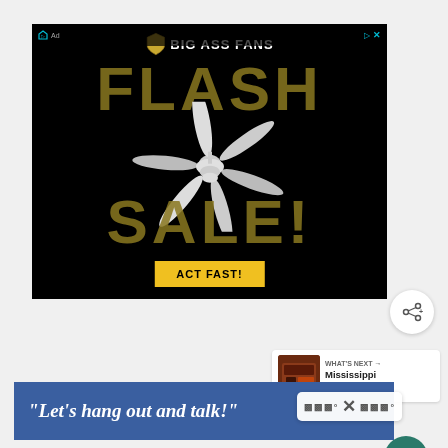[Figure (photo): Big Ass Fans advertisement banner showing a ceiling fan with 'FLASH SALE!' text and 'ACT FAST!' button on black background]
[Figure (infographic): Heart/like button showing 189 likes, and a share button icon on the right side]
WHAT'S NEXT → Mississippi Mud Brownies
[Figure (photo): Thumbnail image of Mississippi Mud Brownies]
“Let’s hang out and talk!”